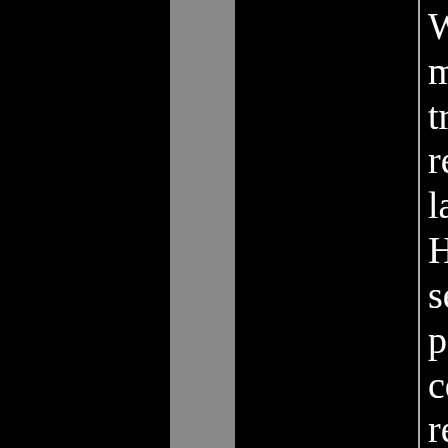With independent spirit and the moment, GRAMMY winner tribute to Nina Simone titled recording is her second rele label Listen Back Entertain Holland, Los Angeles, Lon seven track recoding featur personal importance drawn celebrated songbook. Back renowned orchestra Metro by Jules Buckley with arran Neufer and others on the m Orleans Jazz Orchestra dir
The recording opens with Ledisi's bond to the great v song backed by the superb Baby Just Cares for Me" be of "Ne Me Quitte Pas (Don'
The sole live recording is song with so much emoti